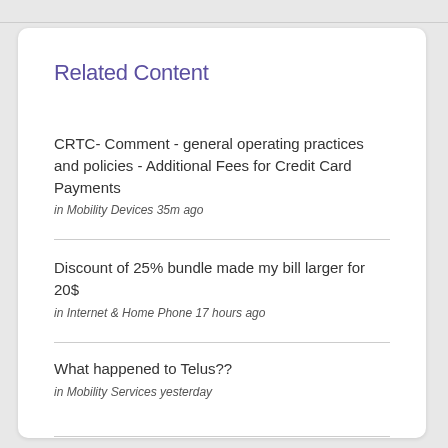Related Content
CRTC- Comment - general operating practices and policies - Additional Fees for Credit Card Payments
in Mobility Devices 35m ago
Discount of 25% bundle made my bill larger for 20$
in Internet & Home Phone 17 hours ago
What happened to Telus??
in Mobility Services yesterday
EXA5000 Bridging with Telus Wifi AP (Booster 2.0)